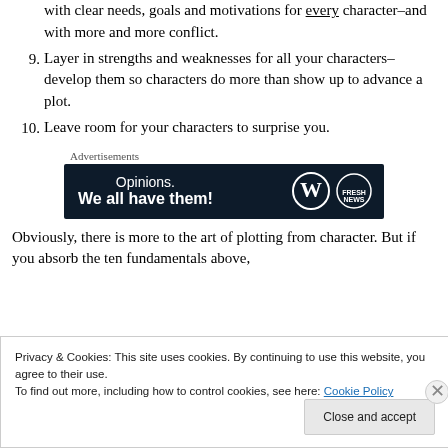with clear needs, goals and motivations for every character–and with more and more conflict.
9. Layer in strengths and weaknesses for all your characters–develop them so characters do more than show up to advance a plot.
10. Leave room for your characters to surprise you.
[Figure (other): Advertisement banner: dark navy background with text 'Opinions. We all have them!' and WordPress and Fresh News logos on the right.]
Obviously, there is more to the art of plotting from character. But if you absorb the ten fundamentals above,
Privacy & Cookies: This site uses cookies. By continuing to use this website, you agree to their use. To find out more, including how to control cookies, see here: Cookie Policy